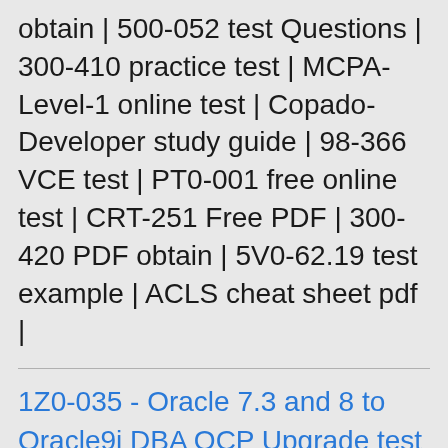obtain | 500-052 test Questions | 300-410 practice test | MCPA-Level-1 online test | Copado-Developer study guide | 98-366 VCE test | PT0-001 free online test | CRT-251 Free PDF | 300-420 PDF obtain | 5V0-62.19 test example | ACLS cheat sheet pdf |
1Z0-035 - Oracle 7.3 and 8 to Oracle9i DBA OCP Upgrade test format
1Z0-035 - Oracle 7.3 and 8 to